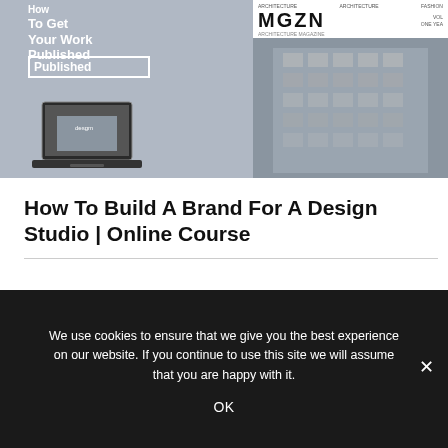[Figure (screenshot): A webpage screenshot showing a design course promotional image. Left side has white bold text 'How To Get Your Work Published' on a grey-blue background with a laptop mockup below. Right side shows a magazine cover with 'MGZN' in large text and a building facade photo.]
How To Build A Brand For A Design Studio | Online Course
We use cookies to ensure that we give you the best experience on our website. If you continue to use this site we will assume that you are happy with it.
OK